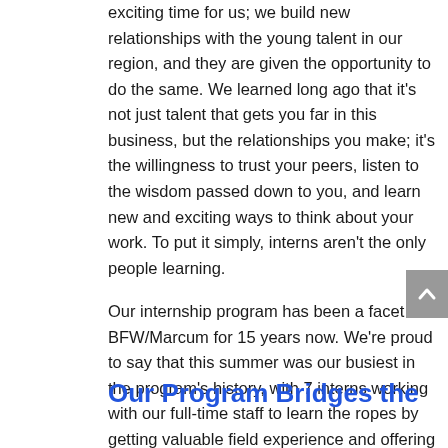exciting time for us; we build new relationships with the young talent in our region, and they are given the opportunity to do the same. We learned long ago that it's not just talent that gets you far in this business, but the relationships you make; it's the willingness to trust your peers, listen to the wisdom passed down to you, and learn new and exciting ways to think about your work. To put it simply, interns aren't the only people learning.

Our internship program has been a facet of BFW/Marcum for 15 years now. We're proud to say that this summer was our busiest in the program's history, with 7 interns working with our full-time staff to learn the ropes by getting valuable field experience and offering their unique perspectives.
Our Program Bridges the